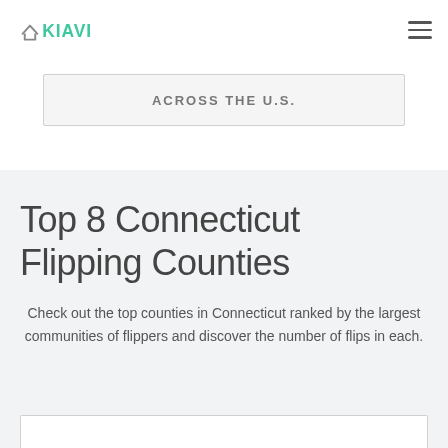Kiavi
ACROSS THE U.S.
Top 8 Connecticut Flipping Counties
Check out the top counties in Connecticut ranked by the largest communities of flippers and discover the number of flips in each.